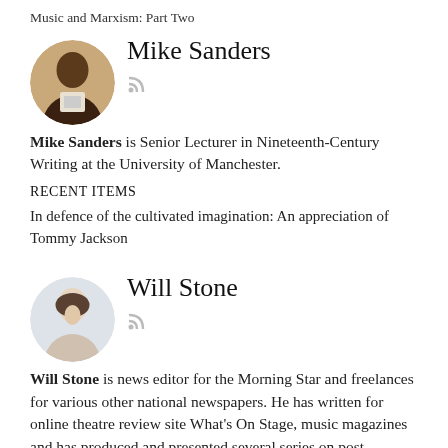Music and Marxism: Part Two
[Figure (photo): Circular headshot photo of Mike Sanders, a man holding papers, against a warm background]
Mike Sanders
Mike Sanders is Senior Lecturer in Nineteenth-Century Writing at the University of Manchester.
RECENT ITEMS
In defence of the cultivated imagination: An appreciation of Tommy Jackson
[Figure (photo): Circular headshot photo of Will Stone, a young man with short dark hair, light background]
Will Stone
Will Stone is news editor for the Morning Star and freelances for various other national newspapers. He has written for online theatre review site What's On Stage, music magazines and has produced and presented several series on post-punk/industrial for ResonanceFM, an arts radio station in